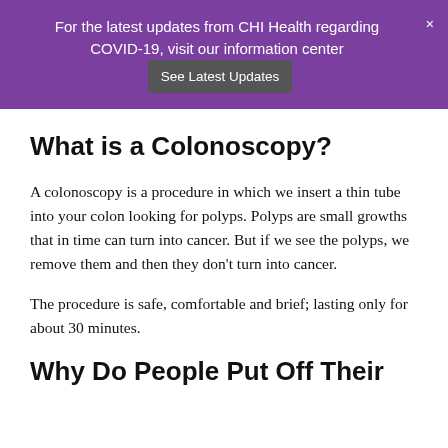For the latest updates from CHI Health regarding COVID-19, visit our information center  See Latest Updates
What is a Colonoscopy?
A colonoscopy is a procedure in which we insert a thin tube into your colon looking for polyps. Polyps are small growths that in time can turn into cancer. But if we see the polyps, we remove them and then they don't turn into cancer.
The procedure is safe, comfortable and brief; lasting only for about 30 minutes.
Why Do People Put Off Their